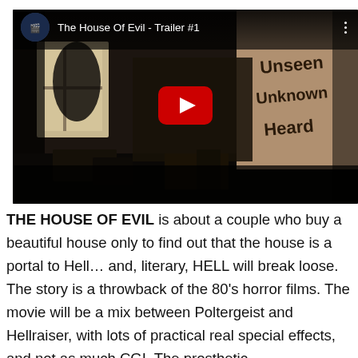[Figure (screenshot): YouTube video thumbnail/player for 'The House Of Evil - Trailer #1'. Shows a dark, abandoned room interior with writing on a wall reading 'Unseen Unknown Heard'. A large red YouTube play button is centered on the video. The video title bar shows a channel icon and the title text.]
THE HOUSE OF EVIL is about a couple who buy a beautiful house only to find out that the house is a portal to Hell… and, literary, HELL will break loose. The story is a throwback of the 80's horror films. The movie will be a mix between Poltergeist and Hellraiser, with lots of practical real special effects, and not as much CGI. The prosthetic devices will be...